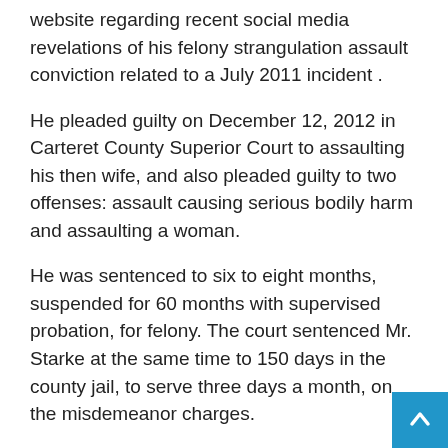website regarding recent social media revelations of his felony strangulation assault conviction related to a July 2011 incident .
He pleaded guilty on December 12, 2012 in Carteret County Superior Court to assaulting his then wife, and also pleaded guilty to two offenses: assault causing serious bodily harm and assaulting a woman.
He was sentenced to six to eight months, suspended for 60 months with supervised probation, for felony. The court sentenced Mr. Starke at the same time to 150 days in the county jail, to serve three days a month, on the misdemeanor charges.
He also had to pay court costs and have no contact with the victim or his family.
Mr Starcke then filed a civil lawsuit in 2012, alleging adultery by his wife and alienation of affection by his alleged girlfriend.